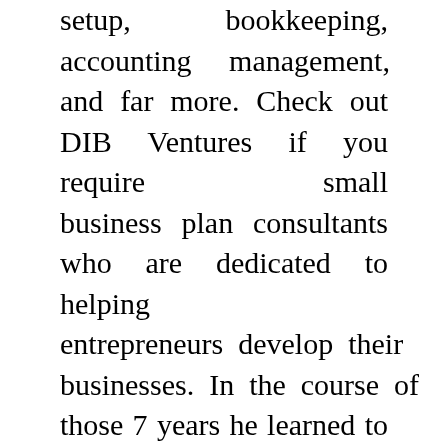setup, bookkeeping, accounting management, and far more. Check out DIB Ventures if you require small business plan consultants who are dedicated to helping entrepreneurs develop their businesses. In the course of those 7 years he learned to manage all types of business challenges, monetary circumstances, industries, and personalities.
Grow your enterprise and